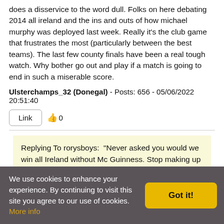does a disservice to the word dull. Folks on here debating 2014 all ireland and the ins and outs of how michael murphy was deployed last week. Really it's the club game that frustrates the most (particularly between the best teams). The last few county finals have been a real tough watch. Why bother go out and play if a match is going to end in such a miserable score.
Ulsterchamps_32 (Donegal) - Posts: 656 - 05/06/2022 20:51:40
Link  0
Replying To rorysboys:  "Never asked you would we win all Ireland without Mc Guinness. Stop making up your own questions to answer. Your previous post at the finish you wished the players well for the rest of the year but no word of management, sums u up all right.. it's people like you who don't go to games who are the biggest mouths lol"
We use cookies to enhance your experience. By continuing to visit this site you agree to our use of cookies. More info